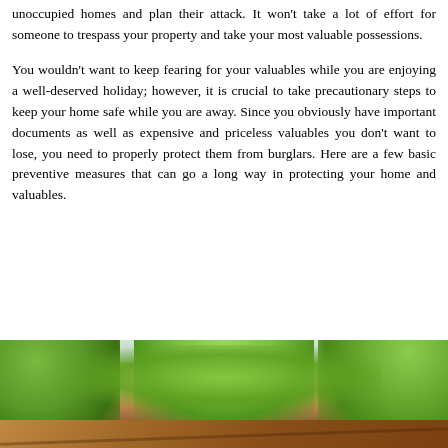unoccupied homes and plan their attack. It won't take a lot of effort for someone to trespass your property and take your most valuable possessions.
You wouldn't want to keep fearing for your valuables while you are enjoying a well-deserved holiday; however, it is crucial to take precautionary steps to keep your home safe while you are away. Since you obviously have important documents as well as expensive and priceless valuables you don't want to lose, you need to properly protect them from burglars. Here are a few basic preventive measures that can go a long way in protecting your home and valuables.
[Figure (photo): Exterior photo of a house with trees and green foliage in the foreground, showing a rooftop and tree branches.]